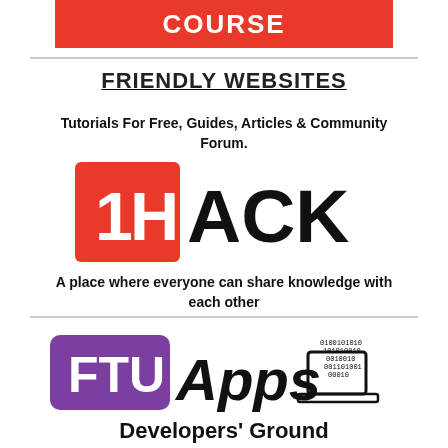[Figure (logo): Red banner with white bold text 'COURSE']
FRIENDLY WEBSITES
Tutorials For Free, Guides, Articles & Community Forum.
[Figure (logo): 1HACK logo: orange square with '1H' in white, followed by 'ACK' in bold black]
A place where everyone can share knowledge with each other
[Figure (logo): FTUApps Developers' Ground logo: purple rectangle with FTU in white, Apps in black, laptop icon with binary code]
Developers' Ground